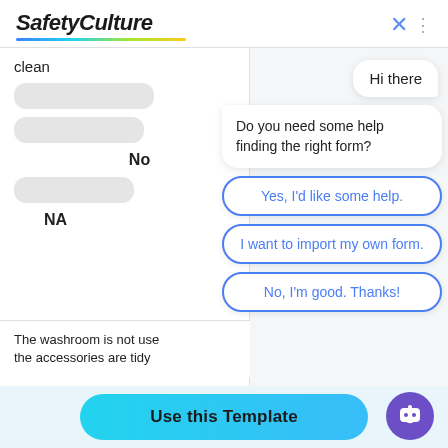[Figure (screenshot): SafetyCulture logo with colorful underline and close button in top header]
clean
No
NA
The washroom is not used the accessories are tidy
Hi there
Do you need some help finding the right form?
Yes, I'd like some help.
I want to import my own form.
No, I'm good. Thanks!
Use this Template